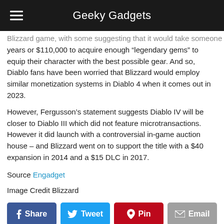Geeky Gadgets
Blizzard game, with some suggesting that it would take someone 10 years or $110,000 to acquire enough “legendary gems” to equip their character with the best possible gear. And so, Diablo fans have been worried that Blizzard would employ similar monetization systems in Diablo 4 when it comes out in 2023.
However, Fergusson’s statement suggests Diablo IV will be closer to Diablo III which did not feature microtransactions. However it did launch with a controversial in-game auction house – and Blizzard went on to support the title with a $40 expansion in 2014 and a $15 DLC in 2017.
Source Engadget
Image Credit Blizzard